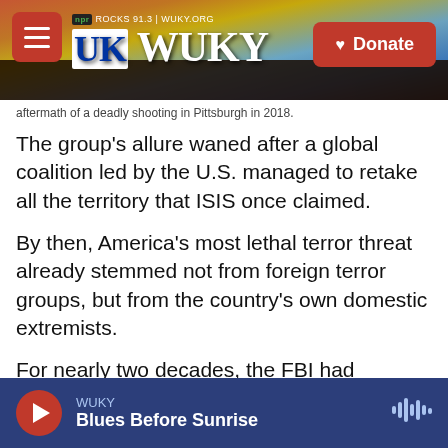WUKY NPR ROCKS 91.3 | WUKY.ORG — Donate
aftermath of a deadly shooting in Pittsburgh in 2018.
The group's allure waned after a global coalition led by the U.S. managed to retake all the territory that ISIS once claimed.
By then, America's most lethal terror threat already stemmed not from foreign terror groups, but from the country's own domestic extremists.
For nearly two decades, the FBI had prioritized the fight against international terrorists. But in early 2020, FBI Director Christopher Wray said that had
WUKY — Blues Before Sunrise